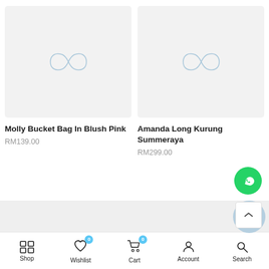[Figure (screenshot): Product image placeholder for Molly Bucket Bag In Blush Pink — gray rectangle with infinity-style loading icon]
Molly Bucket Bag In Blush Pink
RM139.00
[Figure (screenshot): Product image placeholder for Amanda Long Kurung Summeraya — gray rectangle with infinity-style loading icon]
Amanda Long Kurung Summeraya
RM299.00
Shop  Wishlist  Cart  Account  Search